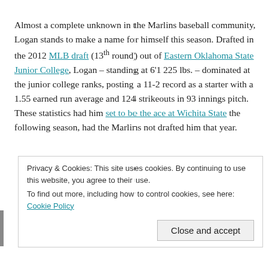Almost a complete unknown in the Marlins baseball community, Logan stands to make a name for himself this season. Drafted in the 2012 MLB draft (13th round) out of Eastern Oklahoma State Junior College, Logan – standing at 6'1 225 lbs. – dominated at the junior college ranks, posting a 11-2 record as a starter with a 1.55 earned run average and 124 strikeouts in 93 innings pitch. These statistics had him set to be the ace at Wichita State the following season, had the Marlins not drafted him that year.
Privacy & Cookies: This site uses cookies. By continuing to use this website, you agree to their use. To find out more, including how to control cookies, see here: Cookie Policy
Close and accept